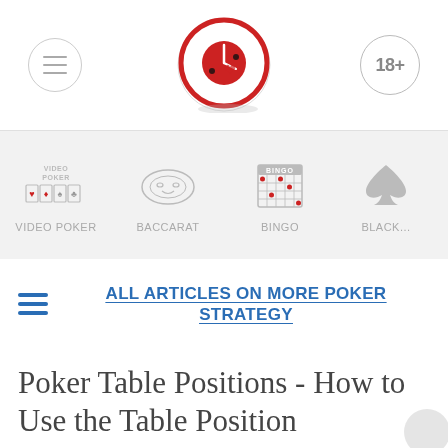Menu | Poker site logo | 18+
[Figure (screenshot): Navigation bar with icons for VIDEO POKER, BACCARAT, BINGO, BLACK categories on a light grey background]
ALL ARTICLES ON MORE POKER STRATEGY
Poker Table Positions - How to Use the Table Position